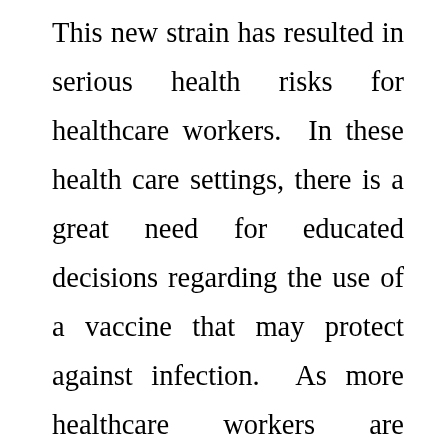This new strain has resulted in serious health risks for healthcare workers. In these health care settings, there is a great need for educated decisions regarding the use of a vaccine that may protect against infection. As more healthcare workers are exposed to this virus regularly, there is a need to study and evaluate this new issue and its effect on the health and safety of healthcare workers. Based on the current information, it is clear that some